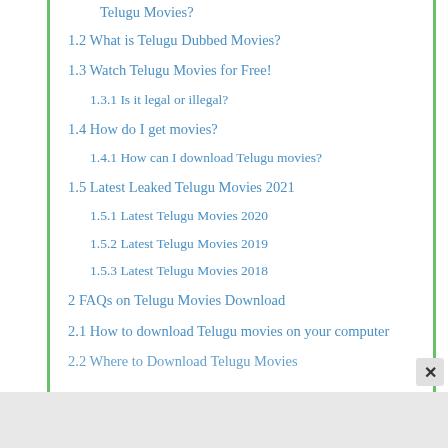Telugu Movies?
1.2 What is Telugu Dubbed Movies?
1.3 Watch Telugu Movies for Free!
1.3.1 Is it legal or illegal?
1.4 How do I get movies?
1.4.1 How can I download Telugu movies?
1.5 Latest Leaked Telugu Movies 2021
1.5.1 Latest Telugu Movies 2020
1.5.2 Latest Telugu Movies 2019
1.5.3 Latest Telugu Movies 2018
2 FAQs on Telugu Movies Download
2.1 How to download Telugu movies on your computer
2.2 Where to Download Telugu Movies